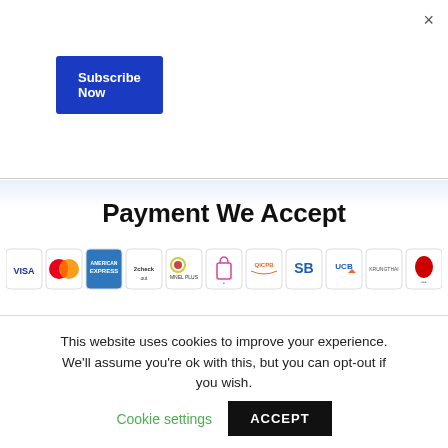×
Subscribe Now
Payment We Accept
[Figure (logo): Row of payment method logos: VISA, Mastercard, American Express, 2Checkout, MNEL PLUS, shopping bag logo, QICPB, SB (Siam Commercial Bank), UCB, Krungthai bank, red eagle bank, another bank logo]
This website uses cookies to improve your experience. We'll assume you're ok with this, but you can opt-out if you wish.
Cookie settings
ACCEPT